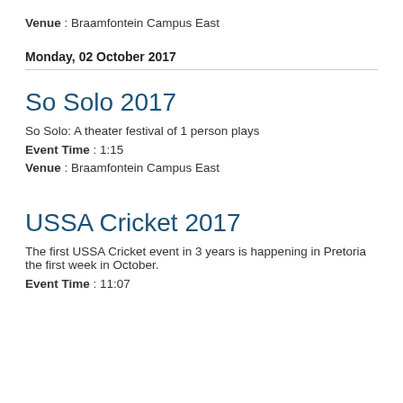Venue : Braamfontein Campus East
Monday, 02 October 2017
So Solo 2017
So Solo: A theater festival of 1 person plays
Event Time : 1:15
Venue : Braamfontein Campus East
USSA Cricket 2017
The first USSA Cricket event in 3 years is happening in Pretoria the first week in October.
Event Time : 11:07